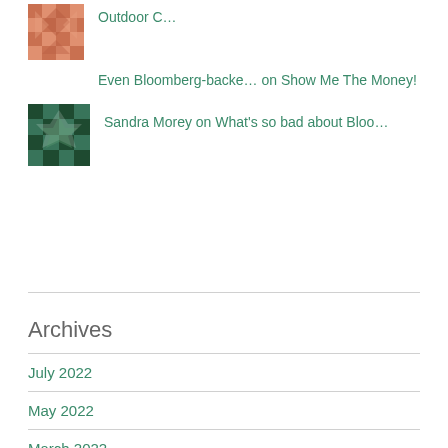[Figure (illustration): Small quilted/geometric pattern avatar icon in salmon/pink tones]
Outdoor C…
Even Bloomberg-backe… on Show Me The Money!
[Figure (illustration): Small quilted/geometric pattern avatar icon in dark green tones]
Sandra Morey on What's so bad about Bloo…
Archives
July 2022
May 2022
March 2022